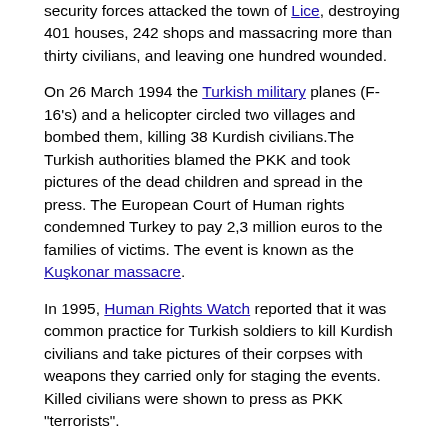security forces attacked the town of Lice, destroying 401 houses, 242 shops and massacring more than thirty civilians, and leaving one hundred wounded.
On 26 March 1994 the Turkish military planes (F-16's) and a helicopter circled two villages and bombed them, killing 38 Kurdish civilians. The Turkish authorities blamed the PKK and took pictures of the dead children and spread in the press. The European Court of Human rights condemned Turkey to pay 2,3 million euros to the families of victims. The event is known as the Kuşkonar massacre.
In 1995, Human Rights Watch reported that it was common practice for Turkish soldiers to kill Kurdish civilians and take pictures of their corpses with weapons they carried only for staging the events. Killed civilians were shown to press as PKK "terrorists".
In 1995, The European newspaper published in its front-page pictures of Turkish soldiers who posed for camera with the decapitated heads of the KurdishPKK fighters. Kurdish fighters were beheaded by Turkish special forces soldiers.
In late March 2006, the Turkish security forces who tried to prevent